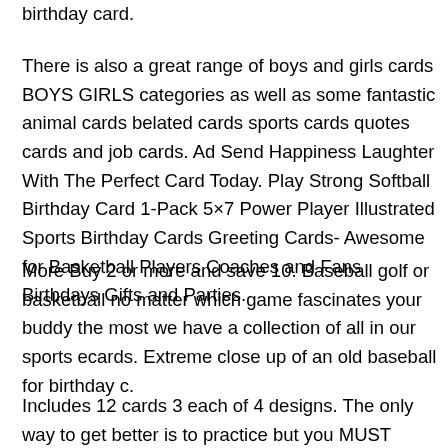birthday card.
There is also a great range of boys and girls cards BOYS GIRLS categories as well as some fantastic animal cards belated cards sports cards quotes cards and job cards. Ad Send Happiness Laughter With The Perfect Card Today. Play Strong Softball Birthday Card 1-Pack 5×7 Power Player Illustrated Sports Birthday Cards Greeting Cards- Awesome for Basketball Players Coaches and Fans Birthdays Gifts and Parties.
More Buy 2 or more and save 10. Baseball golf or basketball no matter which game fascinates your buddy the most we have a collection of all in our sports ecards. Extreme close up of an old baseball for birthday c.
Includes 12 cards 3 each of 4 designs. The only way to get better is to practice but you MUST practice the correct way. If